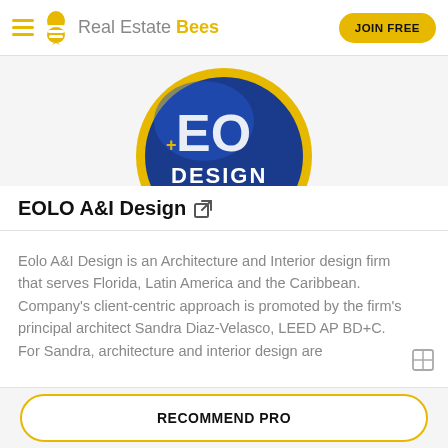Real Estate Bees | JOIN FREE
[Figure (logo): EOLO A&I Design circular logo with blue background and yellow border]
EOLO A&I Design
Eolo A&I Design is an Architecture and Interior design firm that serves Florida, Latin America and the Caribbean. Company's client-centric approach is promoted by the firm's principal architect Sandra Diaz-Velasco, LEED AP BD+C. For Sandra, architecture and interior design are
Recommendations
RECOMMEND PRO